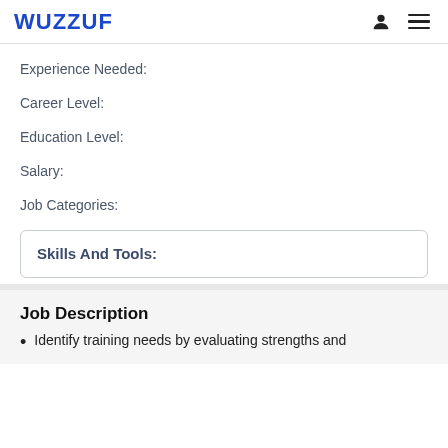WUZZUF
Experience Needed:
Career Level:
Education Level:
Salary:
Job Categories:
Skills And Tools:
Job Description
Identify training needs by evaluating strengths and